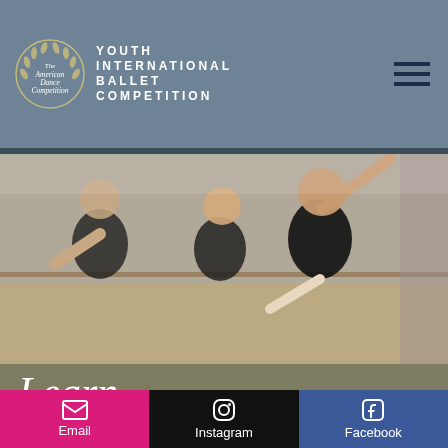Youth International Ballet Competition
[Figure (photo): Ballet dancers in black leotards practicing at a barre, with one dancer extending arm upward in a studio setting]
Learn How to Join
ADC|IBC 2020 Video Applications for Early
Email | Instagram | Facebook